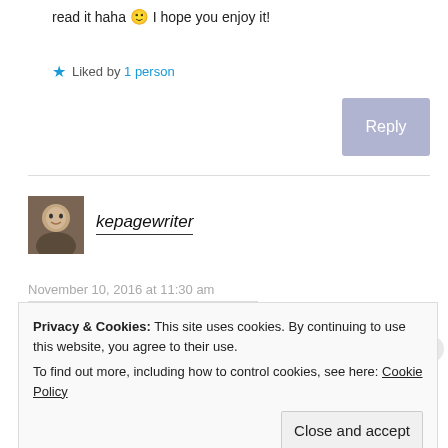read it haha 🙂 I hope you enjoy it!
★ Liked by 1 person
Reply
kepagewriter
November 10, 2016 at 11:30 am
Privacy & Cookies: This site uses cookies. By continuing to use this website, you agree to their use. To find out more, including how to control cookies, see here: Cookie Policy
Close and accept